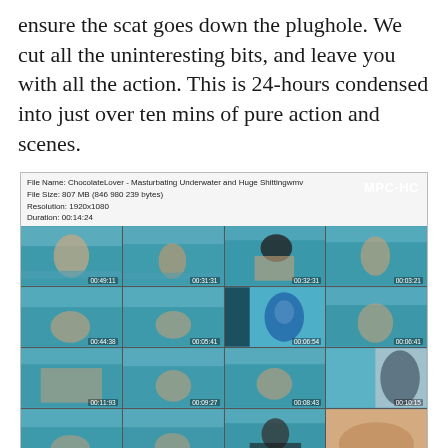ensure the scat goes down the plughole. We cut all the uninteresting bits, and leave you with all the action. This is 24-hours condensed into just over ten mins of pure action and scenes.
[Figure (screenshot): Video thumbnail grid showing 16 underwater scenes in a 4x4 grid with MPC-HC badge. File info header shows filename, file size, resolution 1920x1080, duration 00:14:24.]
TakeFile.link
ChocolateLover  -